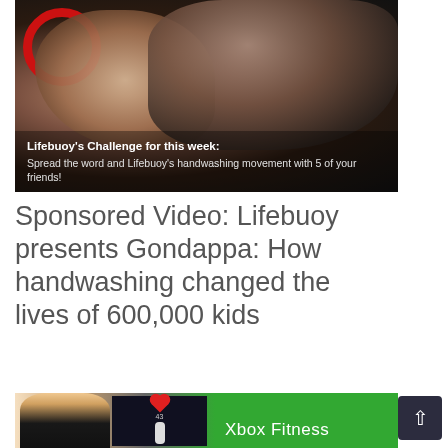[Figure (photo): A dark photograph showing a person with a raised hand, wearing a white shirt, with a Lifebuoy red ring logo visible. Text overlay reads: Lifebuoy's Challenge for this week: Spread the word and Lifebuoy's handwashing movement with 5 of your friends!]
Sponsored Video: Lifebuoy presents Gondappa: How handwashing changed the lives of 600,000 kids
[Figure (photo): Bottom portion of an Xbox Fitness advertisement showing a blonde woman in athletic wear on the left, a dark fitness tracking screen in the center with a heart icon and human figure silhouette, and a green background on the right with 'Xbox Fitness' text.]